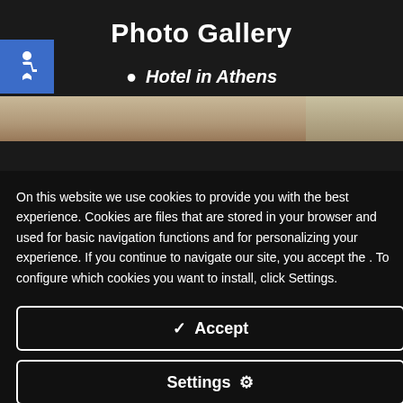Photo Gallery
[Figure (illustration): Accessibility wheelchair icon in blue square]
Hotel in Athens
[Figure (photo): Hotel interior photo strip showing a dining/lobby area]
On this website we use cookies to provide you with the best experience. Cookies are files that are stored in your browser and used for basic navigation functions and for personalizing your experience. If you continue to navigate our site, you accept the . To configure which cookies you want to install, click Settings.
✔ Accept
Settings ⚙